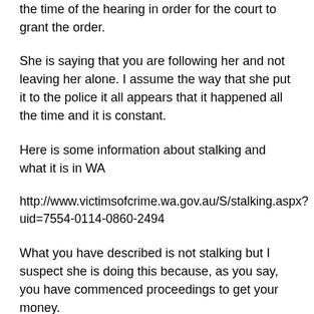the time of the hearing in order for the court to grant the order.
She is saying that you are following her and not leaving her alone. I assume the way that she put it to the police it all appears that it happened all the time and it is constant.
Here is some information about stalking and what it is in WA
http://www.victimsofcrime.wa.gov.au/S/stalking.aspx?uid=7554-0114-0860-2494
What you have described is not stalking but I suspect she is doing this because, as you say, you have commenced proceedings to get your money.
You may have to get a Solicitor to assist you if it goes to